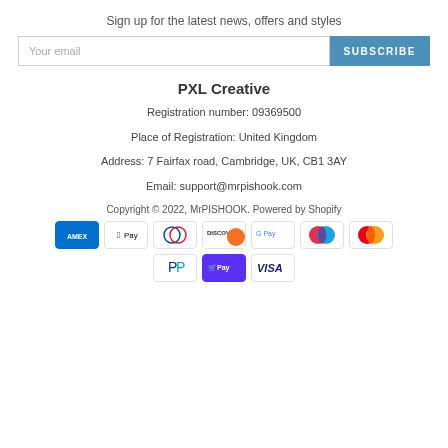Sign up for the latest news, offers and styles
[Figure (screenshot): Email subscription input field with placeholder 'Your email' and a blue SUBSCRIBE button]
PXL Creative
Registration number: 09369500
Place of Registration: United Kingdom
Address: 7 Fairfax road, Cambridge, UK, CB1 3AY
Email: support@mrpishook.com
Copyright © 2022, MrPISHOOK. Powered by Shopify
[Figure (logo): Payment method icons: American Express, Apple Pay, Diners Club, Discover, Google Pay, Maestro, Mastercard, PayPal, Shop Pay, Visa]